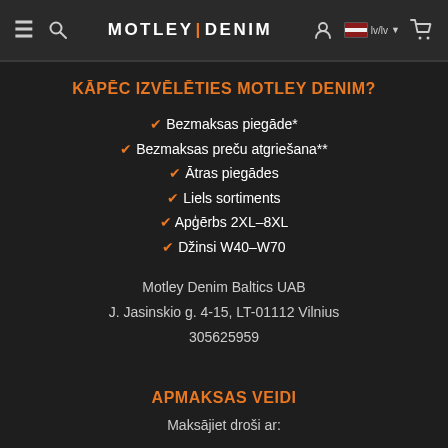MOTLEY DENIM — lv/lv
KĀPĒC IZVĒLĒTIES MOTLEY DENIM?
Bezmaksas piegāde*
Bezmaksas preču atgriešana**
Ātras piegādes
Liels sortiments
Apģērbs 2XL–8XL
Džinsi W40–W70
Motley Denim Baltics UAB
J. Jasinskio g. 4-15, LT-01112 Vilnius
305625959
APMAKSAS VEIDI
Maksājiet droši ar: